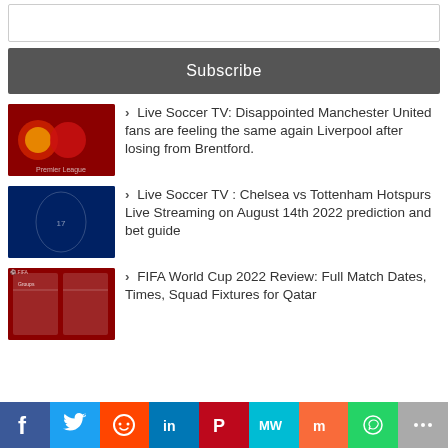[Figure (screenshot): Input/search bar at top]
Subscribe
Live Soccer TV: Disappointed Manchester United fans are feeling the same again Liverpool after losing from Brentford.
Live Soccer TV : Chelsea vs Tottenham Hotspurs Live Streaming on August 14th 2022 prediction and bet guide
FIFA World Cup 2022 Review: Full Match Dates, Times, Squad Fixtures for Qatar
f  Twitter  Reddit  in  Pinterest  MW  Mix  WhatsApp  Share